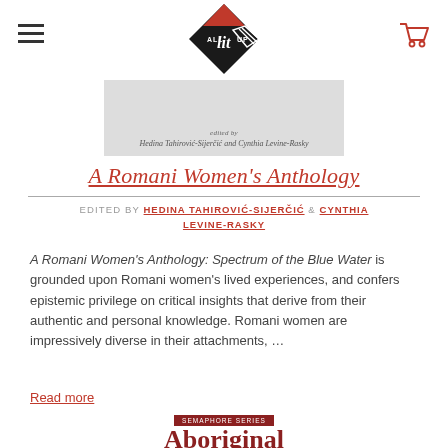All Lit Up — navigation header with hamburger menu, logo, and cart icon
[Figure (photo): Partial view of book cover for A Romani Women's Anthology, light grey background with small italic text showing edited by names]
A Romani Women's Anthology
EDITED BY HEDINA TAHIROVIĆ-SIJERČIĆ & CYNTHIA LEVINE-RASKY
A Romani Women's Anthology: Spectrum of the Blue Water is grounded upon Romani women's lived experiences, and confers epistemic privilege on critical insights that derive from their authentic and personal knowledge. Romani women are impressively diverse in their attachments, ...
Read more
[Figure (photo): Partial view of another book cover with a Semaphore Series badge and title text reading 'Aboriginal' in dark red bold font, with partial book cover imagery visible]